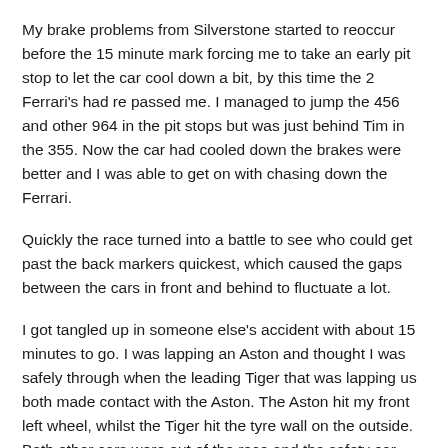My brake problems from Silverstone started to reoccur before the 15 minute mark forcing me to take an early pit stop to let the car cool down a bit, by this time the 2 Ferrari's had re passed me. I managed to jump the 456 and other 964 in the pit stops but was just behind Tim in the 355. Now the car had cooled down the brakes were better and I was able to get on with chasing down the Ferrari.
Quickly the race turned into a battle to see who could get past the back markers quickest, which caused the gaps between the cars in front and behind to fluctuate a lot.
I got tangled up in someone else's accident with about 15 minutes to go. I was lapping an Aston and thought I was safely through when the leading Tiger that was lapping us both made contact with the Aston. The Aston hit my front left wheel, whilst the Tiger hit the tyre wall on the outside. Both other cars were out of the race and the safety car came out to recover the stranded Aston. The contact had knocked my front left wheel at a strange angle which made turning right slightly more tricky but it was now better at going left. During the incident I lost a place